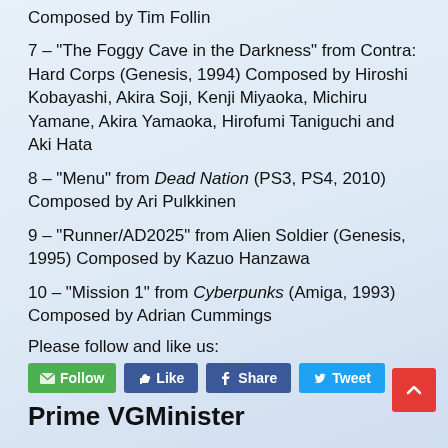Composed by Tim Follin
7 – "The Foggy Cave in the Darkness" from Contra: Hard Corps (Genesis, 1994) Composed by Hiroshi Kobayashi, Akira Soji, Kenji Miyaoka, Michiru Yamane, Akira Yamaoka, Hirofumi Taniguchi and Aki Hata
8 – "Menu" from Dead Nation (PS3, PS4, 2010) Composed by Ari Pulkkinen
9 – "Runner/AD2025" from Alien Soldier (Genesis, 1995) Composed by Kazuo Hanzawa
10 – "Mission 1" from Cyberpunks (Amiga, 1993) Composed by Adrian Cummings
Please follow and like us:
Prime VGMinister